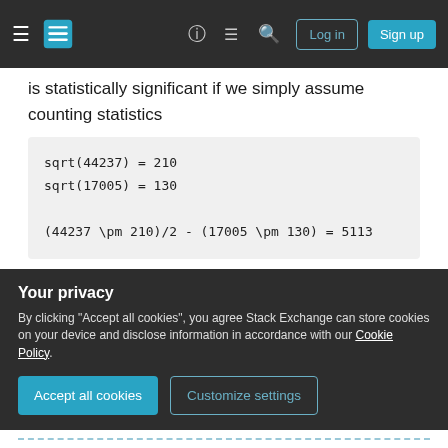Stack Exchange navigation bar with hamburger menu, logo, help, chat, search icons, Log in and Sign up buttons
is statistically significant if we simply assume counting statistics
or about 31 sigma.
Of course it is still 5000/3.8e6 so it is a small
Your privacy
By clicking "Accept all cookies", you agree Stack Exchange can store cookies on your device and disclose information in accordance with our Cookie Policy.
Accept all cookies
Customize settings